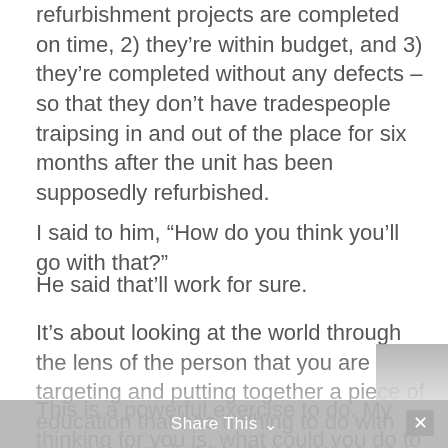refurbishment projects are completed on time, 2) they’re within budget, and 3) they’re completed without any defects – so that they don’t have tradespeople traipsing in and out of the place for six months after the unit has been supposedly refurbished.
I said to him, “How do you think you’ll go with that?”
He said that’ll work for sure.
It’s about looking at the world through the lens of the person that you are targeting and putting together a piece of education that has nothing to do with your product, but positions you as an expert in the process.
This is a powerful exercise to do. My thinking for you is, what could you do to educate that particular target on how to avoid those things happening? And if you
Share This